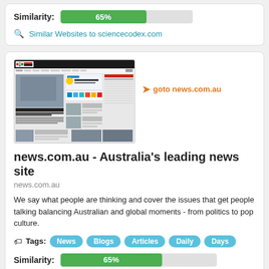Similarity: 65%
Similar Websites to sciencecodex.com
[Figure (screenshot): Screenshot of news.com.au website showing Australian news homepage with navigation bar, weather widget, and news articles]
goto news.com.au
news.com.au - Australia's leading news site
news.com.au
We say what people are thinking and cover the issues that get people talking balancing Australian and global moments - from politics to pop culture.
Tags: News Blogs Articles Daily Days
Similarity: 65%
Similar Websites to news.com.au